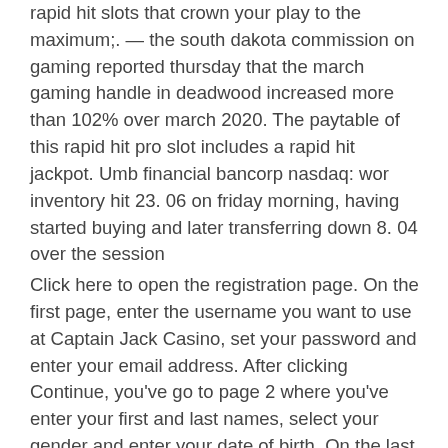rapid hit slots that crown your play to the maximum;. — the south dakota commission on gaming reported thursday that the march gaming handle in deadwood increased more than 102% over march 2020. The paytable of this rapid hit pro slot includes a rapid hit jackpot. Umb financial bancorp nasdaq: wor inventory hit 23. 06 on friday morning, having started buying and later transferring down 8. 04 over the session
Click here to open the registration page. On the first page, enter the username you want to use at Captain Jack Casino, set your password and enter your email address. After clicking Continue, you've go to page 2 where you've enter your first and last names, select your gender and enter your date of birth. On the last page, you've enter your phone number and billing address, rapid hit casino. Note that this information will be verified using a credit card authorization form before you're allowed to cash out your